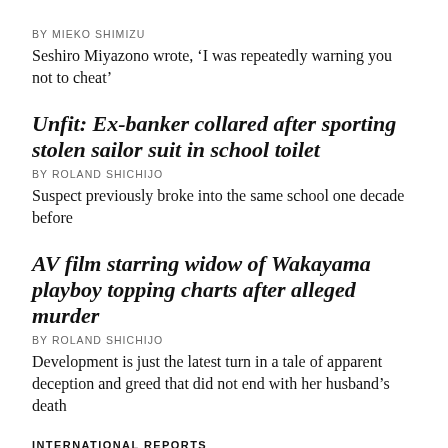BY MIEKO SHIMIZU
Seshiro Miyazono wrote, ‘I was repeatedly warning you not to cheat’
Unfit: Ex-banker collared after sporting stolen sailor suit in school toilet
BY ROLAND SHICHIJO
Suspect previously broke into the same school one decade before
AV film starring widow of Wakayama playboy topping charts after alleged murder
BY ROLAND SHICHIJO
Development is just the latest turn in a tale of apparent deception and greed that did not end with her husband’s death
INTERNATIONAL REPORTS